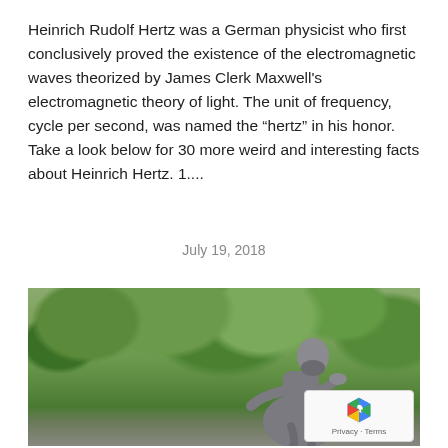Heinrich Rudolf Hertz was a German physicist who first conclusively proved the existence of the electromagnetic waves theorized by James Clerk Maxwell's electromagnetic theory of light. The unit of frequency, cycle per second, was named the “hertz” in his honor. Take a look below for 30 more weird and interesting facts about Heinrich Hertz. 1....
July 19, 2018
[Figure (photo): Black and white photograph of a statue of Heinrich Hertz seated, with lush green trees in the background.]